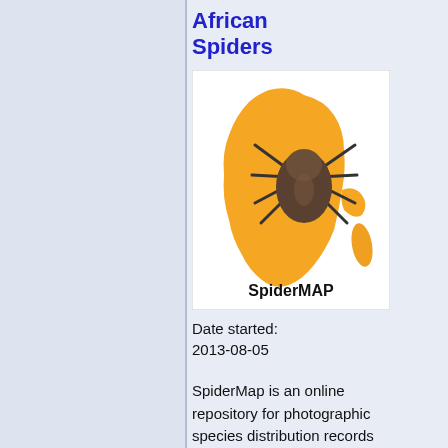African Spiders
[Figure (logo): SpiderMAP logo showing a spider overlaid on a yellow/orange map of Africa, with text 'SpiderMAP' below]
Date started: 2013-08-05
SpiderMap is an online repository for photographic species distribution records for this important group of arthropods. Spiders make up the largest